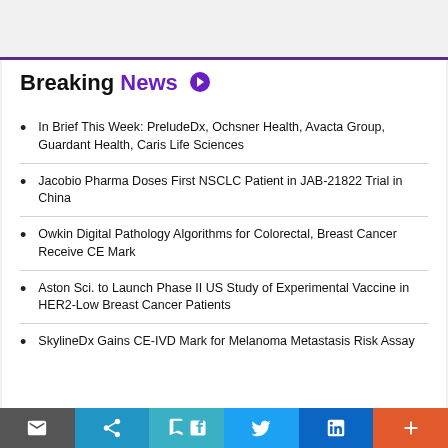Breaking News
In Brief This Week: PreludeDx, Ochsner Health, Avacta Group, Guardant Health, Caris Life Sciences
Jacobio Pharma Doses First NSCLC Patient in JAB-21822 Trial in China
Owkin Digital Pathology Algorithms for Colorectal, Breast Cancer Receive CE Mark
Aston Sci. to Launch Phase II US Study of Experimental Vaccine in HER2-Low Breast Cancer Patients
SkylineDx Gains CE-IVD Mark for Melanoma Metastasis Risk Assay